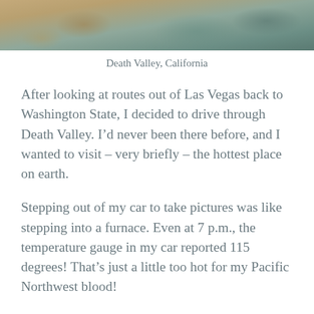[Figure (photo): Aerial or close-up photograph of Death Valley, California, showing sandy/rocky desert terrain with muted earth tones and greenish hues.]
Death Valley, California
After looking at routes out of Las Vegas back to Washington State, I decided to drive through Death Valley. I'd never been there before, and I wanted to visit – very briefly – the hottest place on earth.
Stepping out of my car to take pictures was like stepping into a furnace. Even at 7 p.m., the temperature gauge in my car reported 115 degrees! That's just a little too hot for my Pacific Northwest blood!